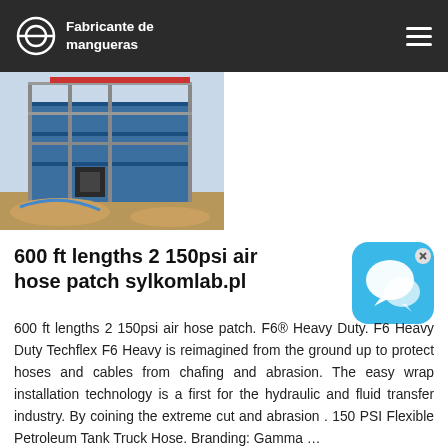Fabricante de mangueras
[Figure (photo): Construction site photo showing industrial scaffolding and equipment with blue sheeting and excavation in progress]
[Figure (illustration): Blue chat bubble app icon with white speech bubble graphics and an X close button]
600 ft lengths 2 150psi air hose patch sylkomlab.pl
600 ft lengths 2 150psi air hose patch. F6® Heavy Duty. F6 Heavy Duty Techflex F6 Heavy is reimagined from the ground up to protect hoses and cables from chafing and abrasion. The easy wrap installation technology is a first for the hydraulic and fluid transfer industry. By coining the extreme cut and abrasion . 150 PSI Flexible Petroleum Tank Truck Hose. Branding: Gamma ...